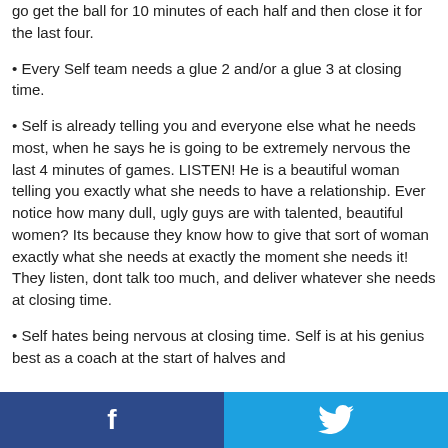go get the ball for 10 minutes of each half and then close it for the last four.
Every Self team needs a glue 2 and/or a glue 3 at closing time.
Self is already telling you and everyone else what he needs most, when he says he is going to be extremely nervous the last 4 minutes of games. LISTEN! He is a beautiful woman telling you exactly what she needs to have a relationship. Ever notice how many dull, ugly guys are with talented, beautiful women? Its because they know how to give that sort of woman exactly what she needs at exactly the moment she needs it! They listen, dont talk too much, and deliver whatever she needs at closing time.
Self hates being nervous at closing time. Self is at his genius best as a coach at the start of halves and
f  [Twitter bird icon]